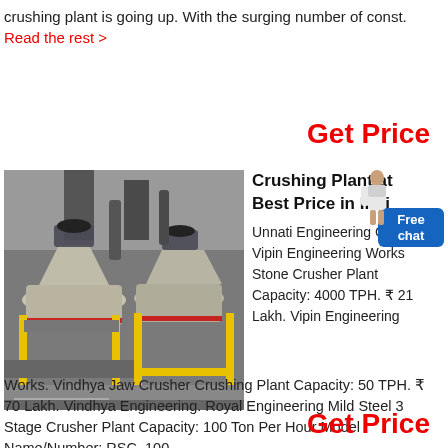crushing plant is going up. With the surging number of const. Read the rest >
Get Price
[Figure (photo): Industrial crushing plant with cone crushers and yellow metal framework structure]
Crushing Plant at Best Price in India
Unnati Engineering Co. Vipin Engineering Works Stone Crusher Plant Capacity: 4000 TPH. ₹ 21 Lakh. Vipin Engineering Works. Vindhya Jaw Crusher Crushing Plant Capacity: 50 TPH. ₹ 70 Lakh. Vindhya Engineering. Royal Engineering Mild Steel 3 Stage Crusher Plant Capacity: 100 Ton Per Hour Model Name/Number: RSC-100.
Get Price